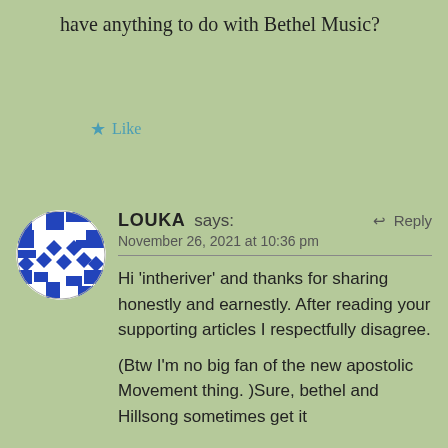have anything to do with Bethel Music?
Like
LOUKA says:
November 26, 2021 at 10:36 pm
Reply
[Figure (illustration): Circular avatar with blue and white geometric/mosaic pattern]
Hi 'intheriver' and thanks for sharing honestly and earnestly. After reading your supporting articles I respectfully disagree.

(Btw I'm no big fan of the new apostolic Movement thing. )Sure, bethel and Hillsong sometimes get it